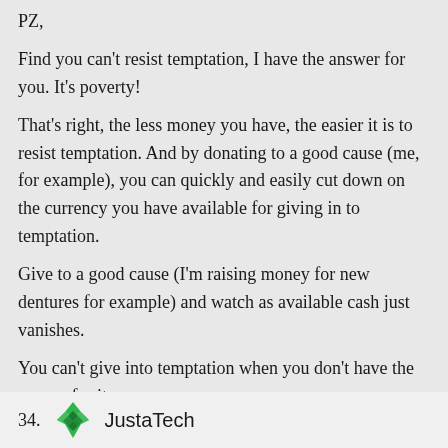PZ,
Find you can’t resist temptation, I have the answer for you. It’s poverty!
That’s right, the less money you have, the easier it is to resist temptation. And by donating to a good cause (me, for example), you can quickly and easily cut down on the currency you have available for giving in to temptation.
Give to a good cause (I’m raising money for new dentures for example) and watch as available cash just vanishes.
You can’t give into temptation when you don’t have the money for it.
34. JustaTech